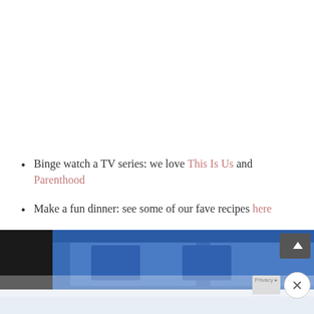Binge watch a TV series: we love This Is Us and Parenthood
Make a fun dinner: see some of our fave recipes here
Make s'mores in your fireplace
[Figure (photo): Partial photo of a person wearing denim overalls/shorts, cropped at waist level, with dark background on left and image fading at bottom]